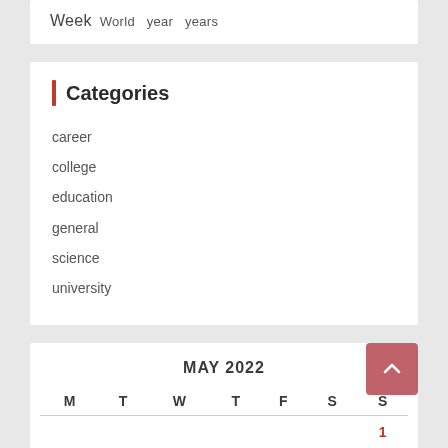Week  World  year  years
Categories
career
college
education
general
science
university
| M | T | W | T | F | S | S |
| --- | --- | --- | --- | --- | --- | --- |
|  |  |  |  |  |  | 1 |
| 2 | 3 | 4 | 5 | 6 | 7 | 8 |